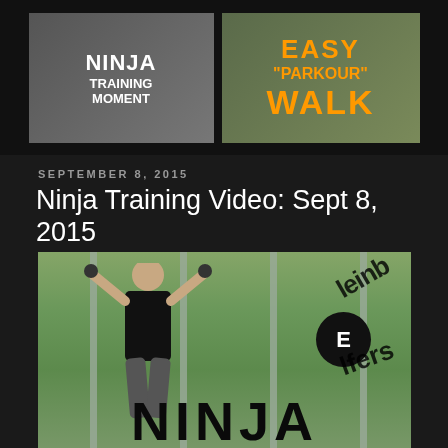[Figure (photo): Two thumbnail images side by side: left shows 'Ninja Training Moment' text on dark background, right shows 'Easy Parkour Walk' in orange text on outdoor background]
SEPTEMBER 8, 2015
Ninja Training Video: Sept 8, 2015
[Figure (photo): A bald man in black sleeveless shirt hanging from vertical bars outdoors with trees in background; watermark overlay reads 'leinbElfers NINJA' in black text; large NINJA text at bottom of image]